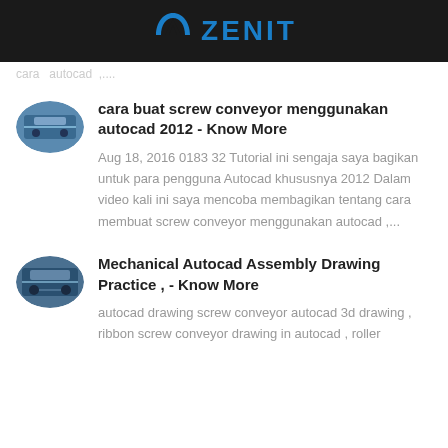ZENIT
cara buat autocad ,....
cara buat screw conveyor menggunakan autocad 2012 - Know More
Aug 18, 2016 0183 32 Tutorial ini sengaja saya bagikan untuk para pengguna Autocad khususnya 2012 Dalam video kali ini saya mencoba membagikan tentang cara membuat screw conveyor menggunakan autocad ,...
Mechanical Autocad Assembly Drawing Practice , - Know More
autocad drawing screw conveyor autocad 3d drawing , ribbon screw conveyor drawing in autocad , roller